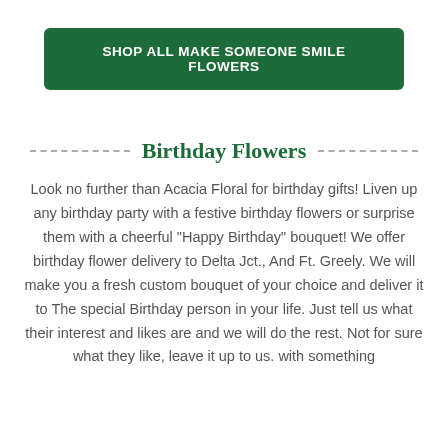SHOP ALL MAKE SOMEONE SMILE FLOWERS
Birthday Flowers
Look no further than Acacia Floral for birthday gifts! Liven up any birthday party with a festive birthday flowers or surprise them with a cheerful "Happy Birthday" bouquet! We offer birthday flower delivery to Delta Jct., And Ft. Greely. We will make you a fresh custom bouquet of your choice and deliver it to The special Birthday person in your life. Just tell us what their interest and likes are and we will do the rest. Not for sure what they like, leave it up to us. with something